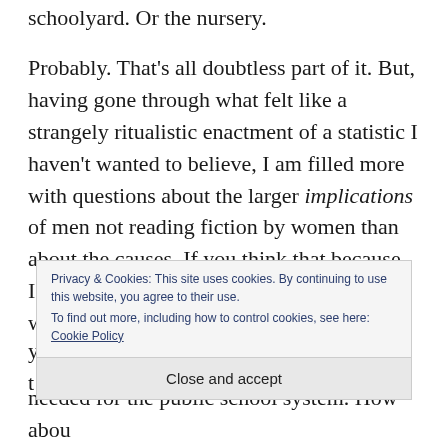schoolyard. Or the nursery.
Probably. That’s all doubtless part of it. But, having gone through what felt like a strangely ritualistic enactment of a statistic I haven’t wanted to believe, I am filled more with questions about the larger implications of men not reading fiction by women than about the causes. If you think that because I’m female what I have to say in my novel won’t interest y... t...
needed for the public school system. How abou...
Privacy & Cookies: This site uses cookies. By continuing to use this website, you agree to their use.
To find out more, including how to control cookies, see here: Cookie Policy
Close and accept